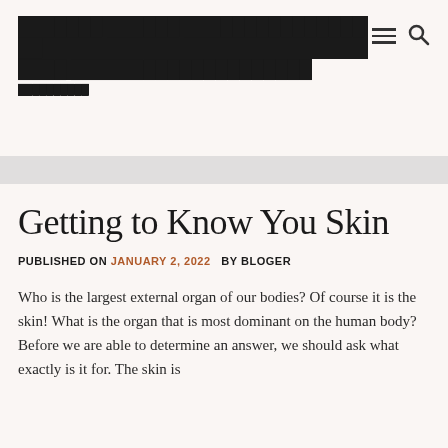███████ ██████ ███████████████ ██ ████ ████████████████████
██████████
Getting to Know You Skin
PUBLISHED ON JANUARY 2, 2022   BY BLOGER
Who is the largest external organ of our bodies? Of course it is the skin! What is the organ that is most dominant on the human body? Before we are able to determine an answer, we should ask what exactly is it for. The skin is